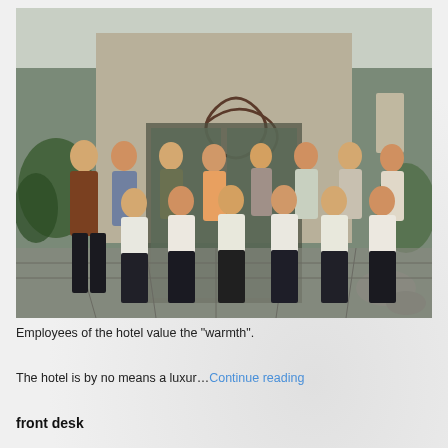[Figure (photo): Group photo of hotel employees posing in front of the hotel entrance. Staff wear matching white patterned tops and dark pants. Two men stand on the left in casual/traditional attire. Background shows hotel signage with a decorative logo.]
Employees of the hotel value the "warmth".
The hotel is by no means a luxur…Continue reading
front desk